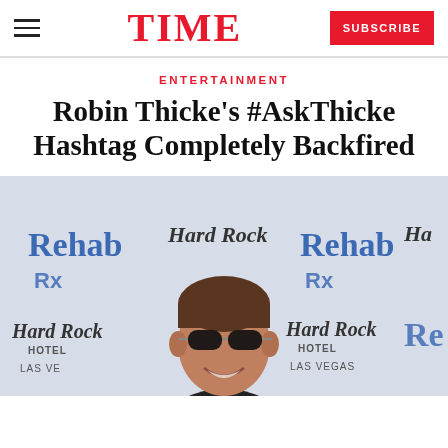TIME | SUBSCRIBE
ENTERTAINMENT
Robin Thicke's #AskThicke Hashtag Completely Backfired
[Figure (photo): Robin Thicke standing at a Hard Rock Hotel Las Vegas Rehab event step-and-repeat backdrop, wearing aviator sunglasses, smiling]